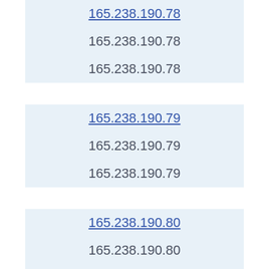165.238.190.78 (link)
165.238.190.78
165.238.190.78
165.238.190.79 (link)
165.238.190.79
165.238.190.79
165.238.190.80 (link)
165.238.190.80
165.238.190.80